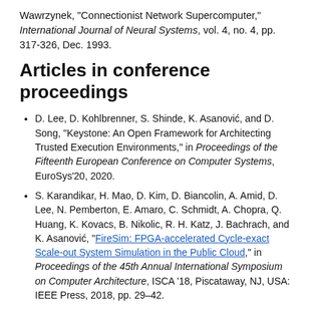Wawrzynek, "Connectionist Network Supercomputer," International Journal of Neural Systems, vol. 4, no. 4, pp. 317-326, Dec. 1993.
Articles in conference proceedings
D. Lee, D. Kohlbrenner, S. Shinde, K. Asanović, and D. Song, "Keystone: An Open Framework for Architecting Trusted Execution Environments," in Proceedings of the Fifteenth European Conference on Computer Systems, EuroSys'20, 2020.
S. Karandikar, H. Mao, D. Kim, D. Biancolin, A. Amid, D. Lee, N. Pemberton, E. Amaro, C. Schmidt, A. Chopra, Q. Huang, K. Kovacs, B. Nikolic, R. H. Katz, J. Bachrach, and K. Asanović, "FireSim: FPGA-accelerated Cycle-exact Scale-out System Simulation in the Public Cloud," in Proceedings of the 45th Annual International Symposium on Computer Architecture, ISCA '18, Piscataway, NJ, USA: IEEE Press, 2018, pp. 29–42.